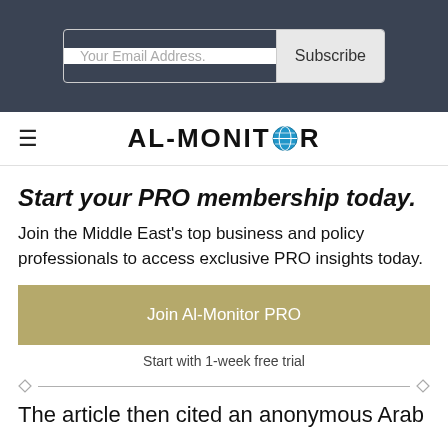Your Email Address. Subscribe
[Figure (logo): AL-MONITOR logo with globe icon in place of the letter O]
Start your PRO membership today.
Join the Middle East's top business and policy professionals to access exclusive PRO insights today.
Join Al-Monitor PRO
Start with 1-week free trial
The article then cited an anonymous Arab